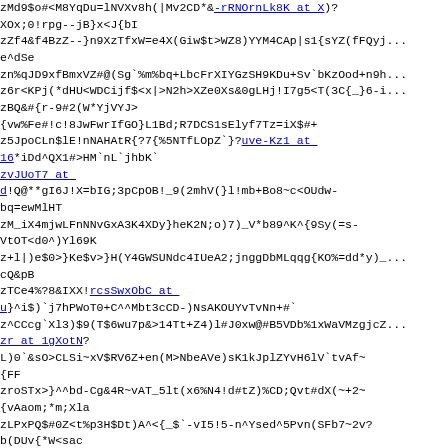zMd9$o#<M8YqDu=lNVXv8h(|Mv2CD*&-rRNOrnLk8K at X)?
XOx;0!rpg--jB}x<J{bI
zZf4&f4BzZ--}n9XzTfxW=e4X(Giw$t>WZ8)YYM4CAp|s1{sYZ(fFQyj...
e^dSe
zn%qJD9xfBmxVZ#@(Sg`%m%bq+LbcFrXIYGzSH9KDu+Sv`bKzOod+n9h...
z6r<KPj(*dHU<WDCijf$<x|>N2h>XZe0Xs&0gLHj!I7g5<T(3C{_}6-i...
zBQ&#{ r-9#2(W*YjVYJ>
{vw%Fe#!c!8JwFwrIfGO}L1Bd;R7DCS1sElyf7Tz=iX$#+
z5JpoCLn$lE!nNAHAtR{?7{%5NTfLOpZ`}?uve-Kz1 at 16*iDd^QX1#>HM`nL`jhbK`
zvJUoT7 at d!Q@**gI6J!X=bIG;3pCpOB!_9(2mhV(}l!mb+Bo8~c<OUdw-
bq=ewMlHT
zM_iX4mjwLFnNNvGxA3K4XDy}heK2N;o)7)_V*b89^K^{9Sy(=s-
VtOT<d0^)Yl69K
z+l|)e$0>}Ke$v>}H(Y4GWSUNdc4IUeA2;jnggDbMLqqg{KO%=dd*y)_...
cQ&pB
zTCe4%?8&IXX!rcsSwxObC at u}^i$)`j7hPWoT0+C^^Mbt3cCD-)NsAKOUYvTvNn+#`
z^CCcg`Xl3)$9(T$6wu7p&>14Tt+Z4)l#J0xw@#B5VDb%1xWaVMzgjcZ...
zr at 1gXotN?
L)0`&sO>CLSi~xV$RV6Z+en(M>NbeAVe)sK1kJplZYvH6lV`tvAf~
{FF
zroSTx>}^^bd-Cg&4R~vAT_5lt(x6%N4!d#tZ)%CD;Qvt#dX(~+2~
{vAaom;*m;Xla
zLPxPQ$#0Z<t%p3H$Dt)A^<{_$`-vI5!5-n^Ysed^5Pvn(SFb7~2v?
b(DUv{*W<sac
z$h=HMFJ-{U!%b<7e?u)=fu98PUkcI9XX=`oO4_qt5uyJDQ&j)in?
&fzy-RjI`vFE*
zdSa3XqHV{v5|R0W0Bu4w(|D5d$l}2GG1Kd{WqLl!IxtB``$A)pAioZ...